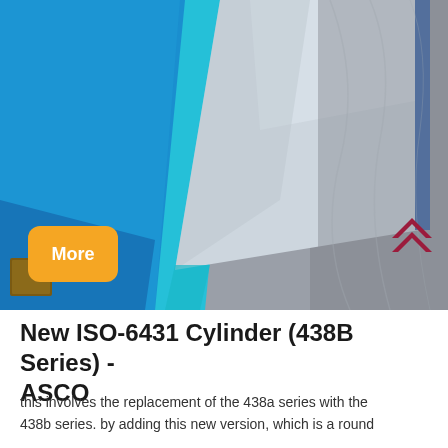[Figure (photo): Photo of blue-painted metal panels or sheets stacked, showing a bright blue anodized or painted surface with a silver/aluminum face and blue border edging. An orange 'More' button badge overlays the lower-left of the image.]
New ISO-6431 Cylinder (438B Series) - ASCO
this involves the replacement of the 438a series with the 438b series. by adding this new version, which is a round